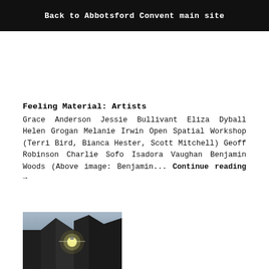Back to Abbotsford Convent main site
Feeling Material: Artists
Grace Anderson Jessie Bullivant Eliza Dyball Helen Grogan Melanie Irwin Open Spatial Workshop (Terri Bird, Bianca Hester, Scott Mitchell) Geoff Robinson Charlie Sofo Isadora Vaughan Benjamin Woods (Above image: Benjamin... Continue reading →
[Figure (photo): Architectural photograph of a dark angular building exterior with a light fixture illuminated at dusk]